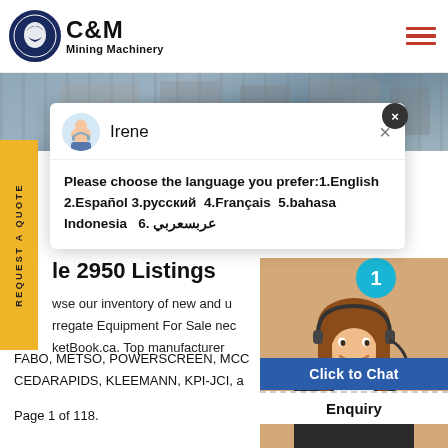[Figure (logo): C&M Mining Machinery logo with eagle in gear circle and company name]
[Figure (photo): Industrial mining machinery equipment in a manufacturing facility - banner image]
[Figure (screenshot): Chat popup with Irene avatar showing language selection message in English, Spanish, Russian, French, Bahasa Indonesia, Arabic]
le 2950 Listings
wse our inventory of new and us
rregate Equipment For Sale nec
ketBook.ca. Top manufacturer
FABO, METSO, POWERSCREEN, MCC
CEDARAPIDS, KLEEMANN, KPI-JCI, a
Page 1 of 118.
[Figure (photo): Customer service agent woman wearing headset, smiling]
Click to Chat
Enquiry